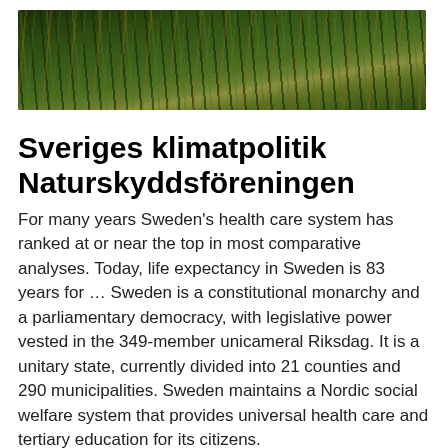[Figure (photo): Close-up photo of dark green grass or wild plants with some golden/brown tones, appearing to be a nature scene.]
Sveriges klimatpolitik Naturskyddsföreningen
For many years Sweden's health care system has ranked at or near the top in most comparative analyses. Today, life expectancy in Sweden is 83 years for … Sweden is a constitutional monarchy and a parliamentary democracy, with legislative power vested in the 349-member unicameral Riksdag. It is a unitary state, currently divided into 21 counties and 290 municipalities. Sweden maintains a Nordic social welfare system that provides universal health care and tertiary education for its citizens.